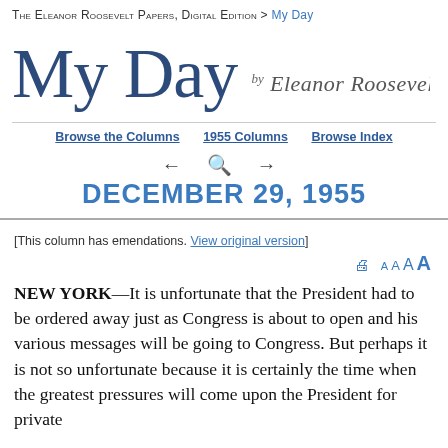The Eleanor Roosevelt Papers, Digital Edition > My Day
[Figure (logo): My Day masthead logo with large stylized text 'My Day' in blue and cursive signature 'by Eleanor Roosevelt' to the right]
Browse the Columns   1955 Columns   Browse Index
← 🔍 → DECEMBER 29, 1955
[This column has emendations. View original version]
🖶 A A A A
NEW YORK—It is unfortunate that the President had to be ordered away just as Congress is about to open and his various messages will be going to Congress. But perhaps it is not so unfortunate because it is certainly the time when the greatest pressures will come upon the President for private